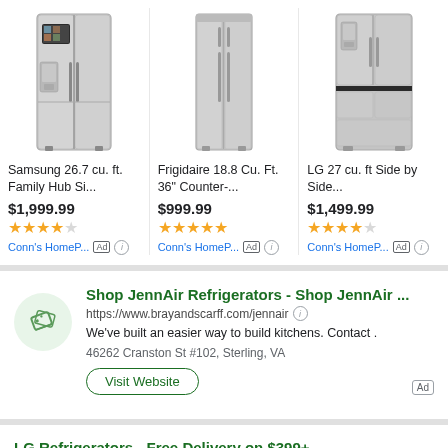[Figure (photo): Samsung 26.7 cu. ft. Family Hub Side-by-Side refrigerator in stainless steel with screen panel]
Samsung 26.7 cu. ft. Family Hub Si...
$1,999.99
★★★★☆
Conn's HomeP... Ad ⓘ
[Figure (photo): Frigidaire 18.8 Cu. Ft. 36 inch Counter-depth side-by-side refrigerator in stainless steel]
Frigidaire 18.8 Cu. Ft. 36" Counter-...
$999.99
★★★★★
Conn's HomeP... Ad ⓘ
[Figure (photo): LG 27 cu. ft. Side by Side refrigerator in stainless steel with ice and water dispenser]
LG 27 cu. ft Side by Side...
$1,499.99
★★★★☆
Conn's HomeP... Ad ⓘ
Shop JennAir Refrigerators - Shop JennAir ...
https://www.brayandscarff.com/jennair
We've built an easier way to build kitchens. Contact .
46262 Cranston St #102, Sterling, VA
Visit Website
LG Refrigerators - Free Delivery on $399+